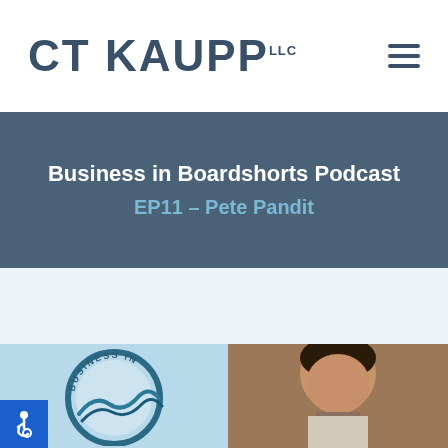CT KAUPP LLC
Business in Boardshorts Podcast
EP11 – Pete Pandit
[Figure (photo): Two images side by side: left is the Business in Boardshorts podcast circular logo on a light blue background; right is a headshot of Pete Pandit. An accessibility icon appears in the bottom-left corner.]